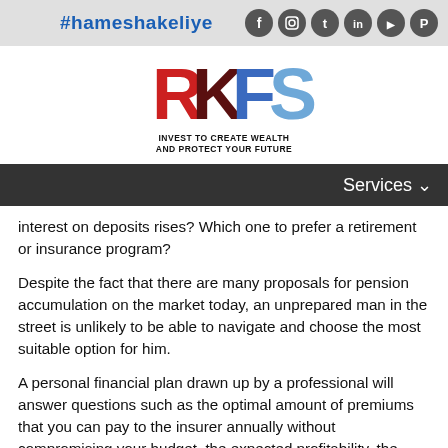#hameshakeliye
[Figure (logo): RFS logo with red and blue letters and tagline 'INVEST TO CREATE WEALTH AND PROTECT YOUR FUTURE']
Services
interest on deposits rises? Which one to prefer a retirement or insurance program?
Despite the fact that there are many proposals for pension accumulation on the market today, an unprepared man in the street is unlikely to be able to navigate and choose the most suitable option for him.
A personal financial plan drawn up by a professional will answer questions such as the optimal amount of premiums that you can pay to the insurer annually without compromising your budget, the expected profitability, the timing when you or your family are planning